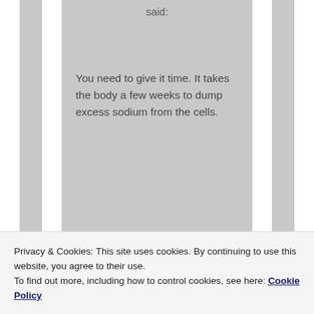said:
You need to give it time. It takes the body a few weeks to dump excess sodium from the cells.
★ Like
Privacy & Cookies: This site uses cookies. By continuing to use this website, you agree to their use.
To find out more, including how to control cookies, see here: Cookie Policy
Close and accept
Shawn Baker? He